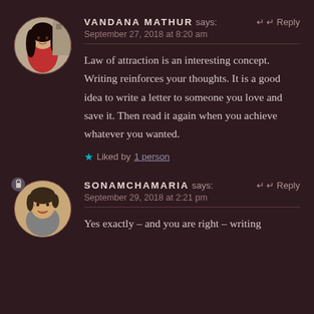[Figure (photo): Circular avatar photo of Vandana Mathur, a woman with long black hair wearing a red top]
VANDANA MATHUR says:
Reply
September 27, 2018 at 8:20 am
Law of attraction is an interesting concept. Writing reinforces your thoughts. It is a good idea to write a letter to someone you love and save it. Then read it again when you achieve whatever you wanted.
Liked by 1 person
[Figure (photo): Circular avatar photo of Sonamchamaria, a person with short hair smiling]
SONAMCHAMARIA says:
Reply
September 29, 2018 at 2:21 pm
Yes exactly – and you are right – writing